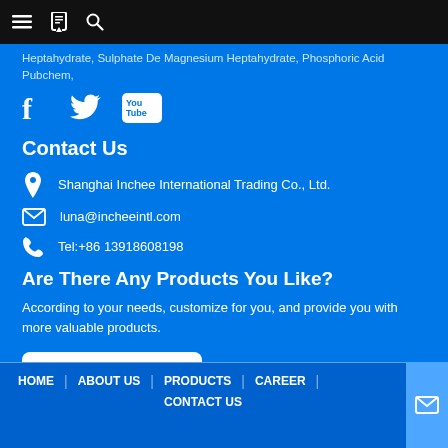Navigation bar with menu, bookmark, and search icons
Heptahydrate, Sulphate De Magnesium Heptahydrate, Phosphoric Acid Pubchem,
[Figure (other): Social media icons: Facebook, Twitter, YouTube]
Contact Us
Shanghai Inchee International Trading Co., Ltd.
luna@incheeintl.com
Tel:+86 13918608198
Are There Any Products You Like?
According to your needs, customize for you, and provide you with more valuable products.
inquiry now
HOME | ABOUT US | PRODUCTS | CAREER | CONTACT US